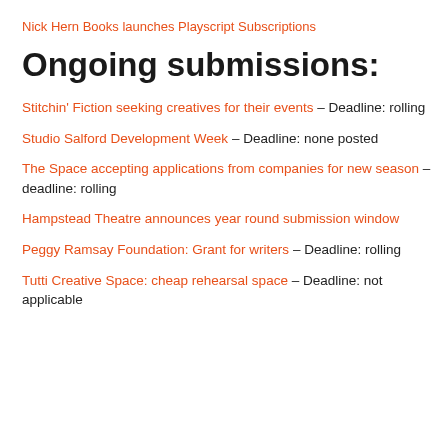Nick Hern Books launches Playscript Subscriptions
Ongoing submissions:
Stitchin' Fiction seeking creatives for their events – Deadline: rolling
Studio Salford Development Week – Deadline: none posted
The Space accepting applications from companies for new season – deadline: rolling
Hampstead Theatre announces year round submission window
Peggy Ramsay Foundation: Grant for writers – Deadline: rolling
Tutti Creative Space: cheap rehearsal space – Deadline: not applicable